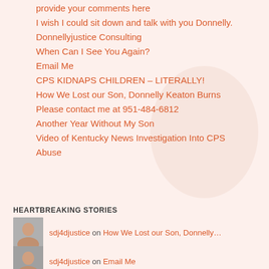provide your comments here
I wish I could sit down and talk with you Donnelly.
Donnellyjustice Consulting
When Can I See You Again?
Email Me
CPS KIDNAPS CHILDREN – LITERALLY!
How We Lost our Son, Donnelly Keaton Burns
Please contact me at 951-484-6812
Another Year Without My Son
Video of Kentucky News Investigation Into CPS Abuse
HEARTBREAKING STORIES
sdj4djustice on How We Lost our Son, Donnelly…
sdj4djustice on Email Me